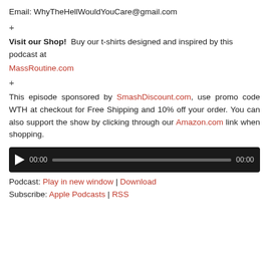Email: WhyTheHellWouldYouCare@gmail.com
+
Visit our Shop!  Buy our t-shirts designed and inspired by this podcast at MassRoutine.com
+
This episode sponsored by SmashDiscount.com, use promo code WTH at checkout for Free Shipping and 10% off your order. You can also support the show by clicking through our Amazon.com link when shopping.
[Figure (other): Audio player widget with play button, time display 00:00, progress bar, and end time 00:00 on dark background]
Podcast: Play in new window | Download
Subscribe: Apple Podcasts | RSS